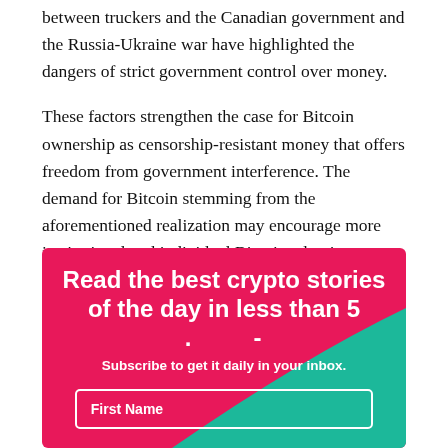between truckers and the Canadian government and the Russia-Ukraine war have highlighted the dangers of strict government control over money.
These factors strengthen the case for Bitcoin ownership as censorship-resistant money that offers freedom from government interference. The demand for Bitcoin stemming from the aforementioned realization may encourage more institutional and individual Bitcoin adoption.
[Figure (infographic): Pink/magenta banner with teal curved shape in bottom-right. White bold text reads 'Read the best crypto stories of the day in less than 5 [minutes]'. Below: 'Subscribe to get it daily in your inbox.' with a 'First Name' input field.]